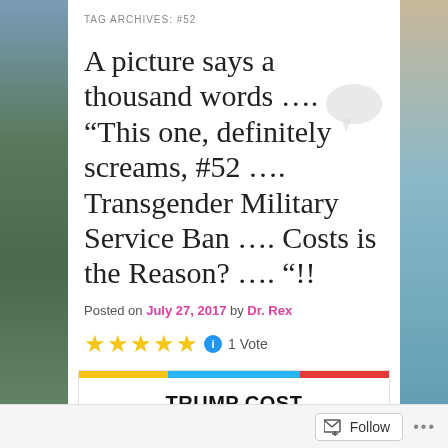TAG ARCHIVES: #52
A picture says a thousand words …. “This one, definitely screams, #52 …. Transgender Military Service Ban …. Costs is the Reason? …. “!!
Posted on July 27, 2017 by Dr. Rex
1 Vote
[Figure (infographic): Infographic titled TRUMP COST COMPARISONS with a colored bar at top and a Trump building image below]
Follow